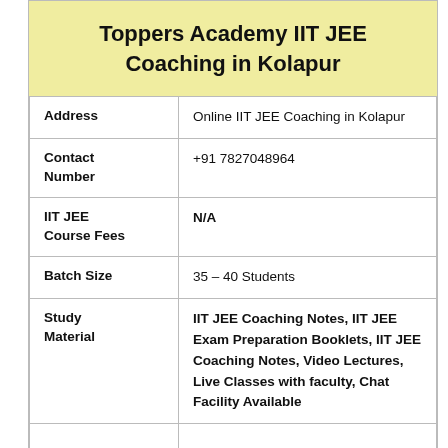Toppers Academy IIT JEE Coaching in Kolapur
|  |  |
| --- | --- |
| Address | Online IIT JEE Coaching in Kolapur |
| Contact Number | +91 7827048964 |
| IIT JEE Course Fees | N/A |
| Batch Size | 35 – 40 Students |
| Study Material | IIT JEE Coaching Notes, IIT JEE Exam Preparation Booklets, IIT JEE Coaching Notes, Video Lectures, Live Classes with faculty, Chat Facility Available |
|  |  |